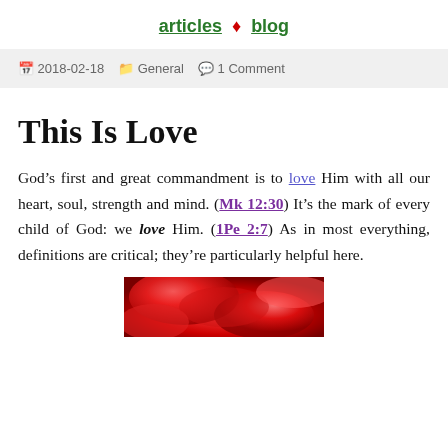articles ♦ blog
📅 2018-02-18   🗂 General   💬 1 Comment
This Is Love
God's first and great commandment is to love Him with all our heart, soul, strength and mind. (Mk 12:30) It's the mark of every child of God: we love Him. (1Pe 2:7) As in most everything, definitions are critical; they're particularly helpful here.
[Figure (photo): Red rose petals close-up photograph]